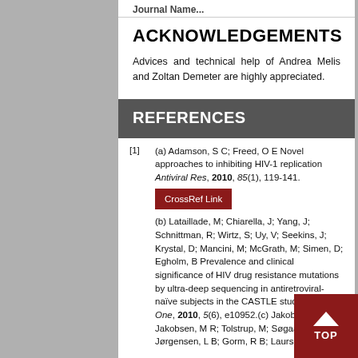ACKNOWLEDGEMENTS
Advices and technical help of Andrea Melis and Zoltan Demeter are highly appreciated.
REFERENCES
[1] (a) Adamson, S C; Freed, O E Novel approaches to inhibiting HIV-1 replication Antiviral Res, 2010, 85(1), 119-141. CrossRef Link (b) Lataillade, M; Chiarella, J; Yang, J; Schnittman, R; Wirtz, S; Uy, V; Seekins, J; Krystal, D; Mancini, M; McGrath, M; Simen, D; Egholm, B Prevalence and clinical significance of HIV drug resistance mutations by ultra-deep sequencing in antiretroviral-naïve subjects in the CASTLE study PLoS One, 2010, 5(6), e10952.(c) Jakobsen, M E; Jakobsen, M R; Tolstrup, M; Søgaard, O S; Jørgensen, L B; Gorm, R B; Laursen...